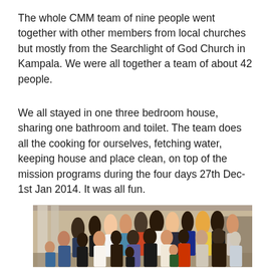The whole CMM team of nine people went together with other members from local churches but mostly from the Searchlight of God Church in Kampala. We were all together a team of about 42 people.
We all stayed in one three bedroom house, sharing one bathroom and toilet. The team does all the cooking for ourselves, fetching water, keeping house and place clean, on top of the mission programs during the four days 27th Dec-1st Jan 2014. It was all fun.
[Figure (photo): Group photo of approximately 42 mission team members standing outside a building with columns, including adults and children of various ages.]